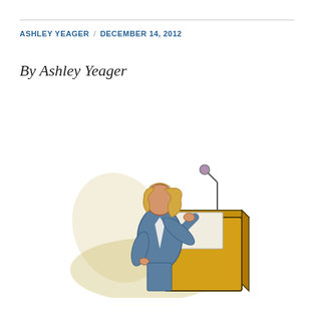ASHLEY YEAGER  /  DECEMBER 14, 2012
By Ashley Yeager
[Figure (illustration): Cartoon illustration of a woman in a blue suit with blonde hair standing at a golden/yellow podium with a microphone, casting a shadow behind her.]